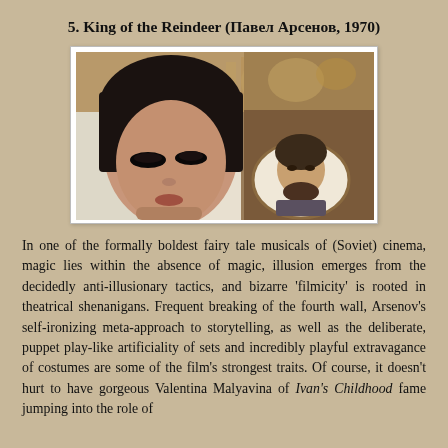5. King of the Reindeer (Павел Арсенов, 1970)
[Figure (photo): Film still from King of the Reindeer (1970): a close-up of a dark-haired woman with dramatic eye makeup (Valentina Malyavina), and an inset oval portrait of a bearded man in armor or period costume. Background shows ornate sculptures or decor.]
In one of the formally boldest fairy tale musicals of (Soviet) cinema, magic lies within the absence of magic, illusion emerges from the decidedly anti-illusionary tactics, and bizarre 'filmicity' is rooted in theatrical shenanigans. Frequent breaking of the fourth wall, Arsenov's self-ironizing meta-approach to storytelling, as well as the deliberate, puppet play-like artificiality of sets and incredibly playful extravagance of costumes are some of the film's strongest traits. Of course, it doesn't hurt to have gorgeous Valentina Malyavina of Ivan's Childhood fame jumping into the role of